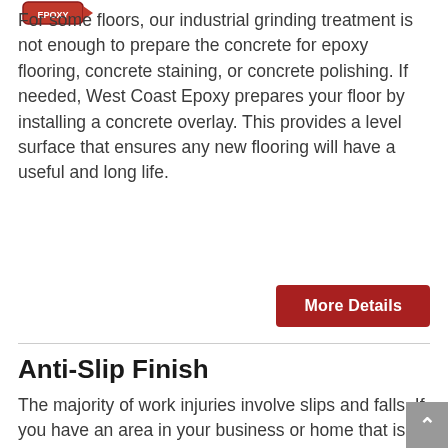[Figure (logo): West Coast Epoxy logo at top left]
For some floors, our industrial grinding treatment is not enough to prepare the concrete for epoxy flooring, concrete staining, or concrete polishing. If needed, West Coast Epoxy prepares your floor by installing a concrete overlay. This provides a level surface that ensures any new flooring will have a useful and long life.
More Details
Anti-Slip Finish
The majority of work injuries involve slips and falls. If you have an area in your business or home that is prone to be wet or oily, it's critical to implement preventative measures. West Coast Epoxy provides an anti-slip finish for concrete